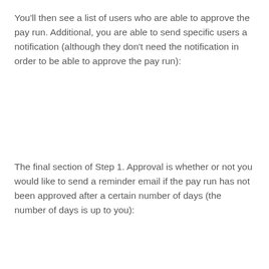You'll then see a list of users who are able to approve the pay run. Additional, you are able to send specific users a notification (although they don't need the notification in order to be able to approve the pay run):
The final section of Step 1. Approval is whether or not you would like to send a reminder email if the pay run has not been approved after a certain number of days (the number of days is up to you):
After you have finished configuring the details for Step 1. Approval, you can click next and will be taken to the usual finalisation settings as outlined at the start of the article.